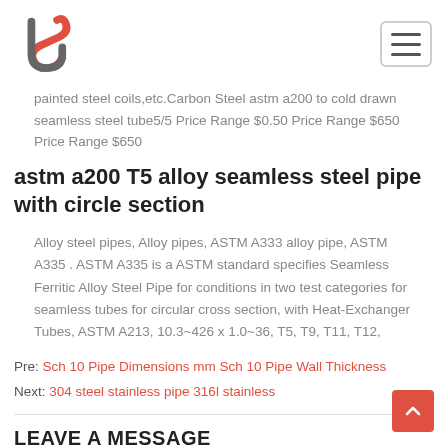Logo and navigation header
painted steel coils,etc.Carbon Steel astm a200 to cold drawn seamless steel tube5/5 Price Range $0.50 Price Range $650 Price Range $650
astm a200 T5 alloy seamless steel pipe with circle section
Alloy steel pipes, Alloy pipes, ASTM A333 alloy pipe, ASTM A335 . ASTM A335 is a ASTM standard specifies Seamless Ferritic Alloy Steel Pipe for conditions in two test categories for seamless tubes for circular cross section, with Heat-Exchanger Tubes, ASTM A213, 10.3~426 x 1.0~36, T5, T9, T11, T12,
Pre: Sch 10 Pipe Dimensions mm Sch 10 Pipe Wall Thickness
Next: 304 steel stainless pipe 316l stainless
LEAVE A MESSAGE